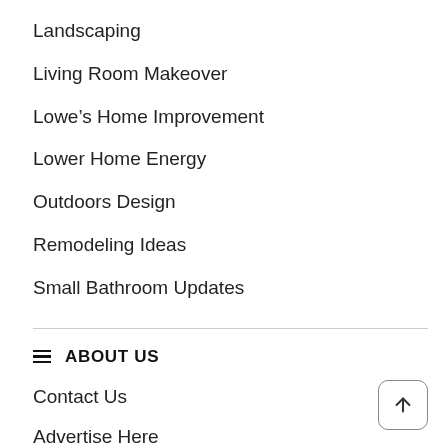Landscaping
Living Room Makeover
Lowe’s Home Improvement
Lower Home Energy
Outdoors Design
Remodeling Ideas
Small Bathroom Updates
ABOUT US
Contact Us
Advertise Here